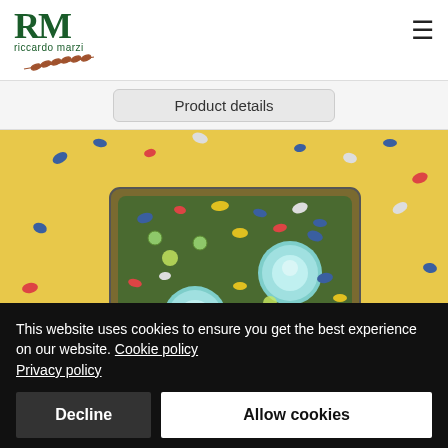[Figure (logo): RM Riccardo Marzi logo with green letters and wheat/branch illustration]
Product details
[Figure (photo): A decorative resin tray embedded with dried flowers, berries, and citrus slices, with two teal/mint candles on a golden/yellow background]
This website uses cookies to ensure you get the best experience on our website. Cookie policy Privacy policy
Decline
Allow cookies